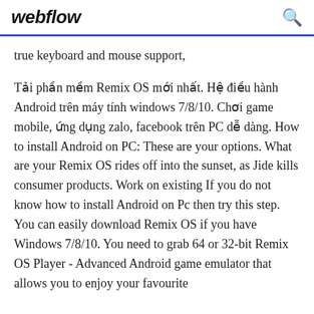webflow
true keyboard and mouse support,
Tải phần mềm Remix OS mới nhất. Hệ điều hành Android trên máy tính windows 7/8/10. Chơi game mobile, ứng dụng zalo, facebook trên PC dễ dàng. How to install Android on PC: These are your options. What are your Remix OS rides off into the sunset, as Jide kills consumer products. Work on existing If you do not know how to install Android on Pc then try this step. You can easily download Remix OS if you have Windows 7/8/10. You need to grab 64 or 32-bit Remix OS Player - Advanced Android game emulator that allows you to enjoy your favourite...